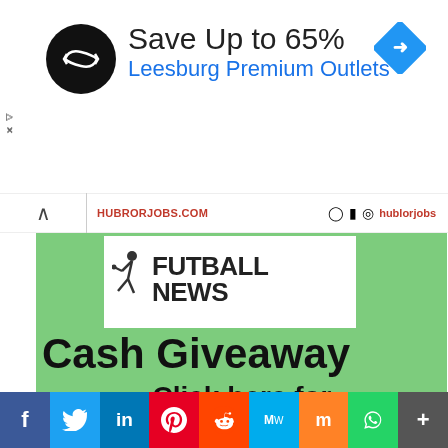[Figure (infographic): Advertisement banner: black circular logo with infinity/loop arrows, text 'Save Up to 65%' in dark, 'Leesburg Premium Outlets' in blue, blue diamond navigation arrow icon on right, small ad tag triangle and X on left]
hubrukjobs.com  [social icons] hublorjobs
[Figure (infographic): Green promotional box with white inset logo panel showing 'FUTBALL NEWS' with soccer player kicking icon. Text reads 'Cash Giveaway' and 'Click here for more']
[Figure (infographic): Social sharing bar with icons: Facebook (blue), Twitter (light blue), LinkedIn (dark blue), Pinterest (red), Reddit (orange-red), MeWe (teal), Mix (orange), WhatsApp (green), More (gray)]